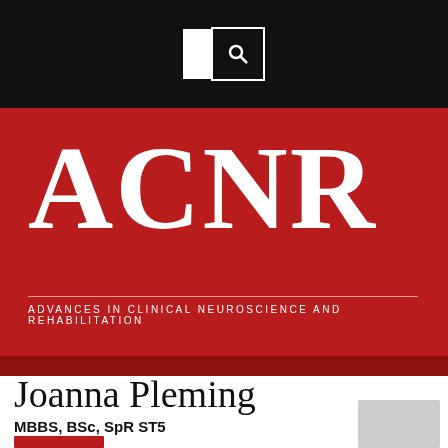[Figure (logo): ACNR journal logo — black top bar with white rectangle and search icon, red banner with large white serif 'ACNR' text, subtitle 'ADVANCES IN CLINICAL NEUROSCIENCE AND REHABILITATION']
Joanna Pleming
MBBS, BSc, SpR ST5